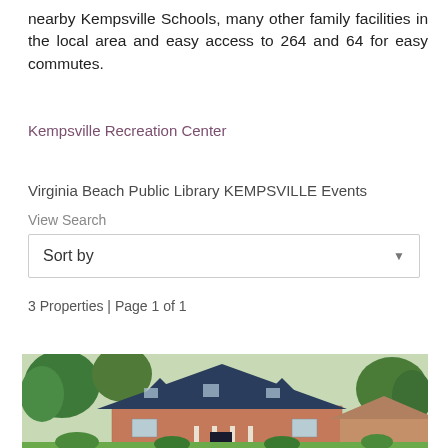nearby Kempsville Schools, many other family facilities in the local area and easy access to 264 and 64 for easy commutes.
Kempsville Recreation Center
Virginia Beach Public Library KEMPSVILLE Events
View Search
Sort by
3 Properties | Page 1 of 1
[Figure (photo): A two-story brick colonial-style house with dark blue roof and three dormer windows, surrounded by green trees on a sunny day.]